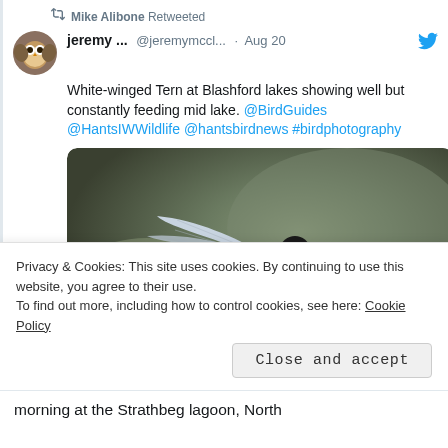Mike Alibone Retweeted
jeremy ... @jeremymccl... · Aug 20
White-winged Tern at Blashford lakes showing well but constantly feeding mid lake. @BirdGuides @HantsIWWildlife @hantsbirdnews #birdphotography
[Figure (photo): White-winged Tern in flight against blurred green/grey background, wings spread, photographed mid-air over a lake]
Privacy & Cookies: This site uses cookies. By continuing to use this website, you agree to their use.
To find out more, including how to control cookies, see here: Cookie Policy
Close and accept
morning at the Strathbeg lagoon, North